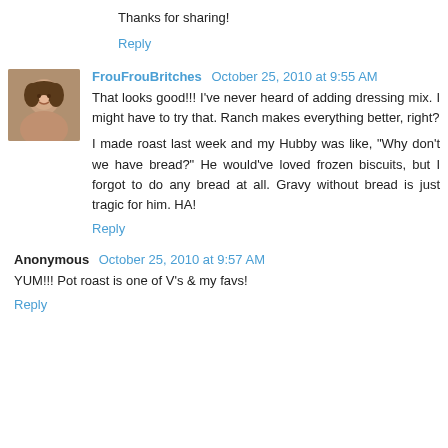Thanks for sharing!
Reply
FrouFrouBritches October 25, 2010 at 9:55 AM
That looks good!!! I've never heard of adding dressing mix. I might have to try that. Ranch makes everything better, right?
I made roast last week and my Hubby was like, "Why don't we have bread?" He would've loved frozen biscuits, but I forgot to do any bread at all. Gravy without bread is just tragic for him. HA!
Reply
Anonymous October 25, 2010 at 9:57 AM
YUM!!! Pot roast is one of V's & my favs!
Reply